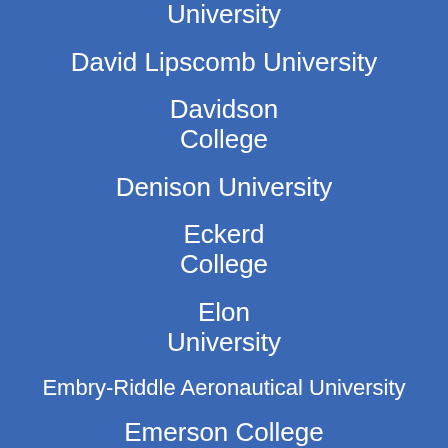University
David Lipscomb University
Davidson College
Denison University
Eckerd College
Elon University
Embry-Riddle Aeronautical University
Emerson College